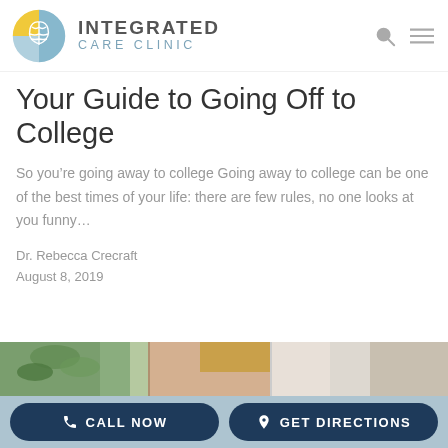INTEGRATED CARE CLINIC
Your Guide to Going Off to College
So you’re going away to college Going away to college can be one of the best times of your life: there are few rules, no one looks at you funny…
Dr. Rebecca Crecraft
August 8, 2019
[Figure (photo): Partial photo showing a person with blonde hair, plants, and a light-colored interior background]
CALL NOW   GET DIRECTIONS